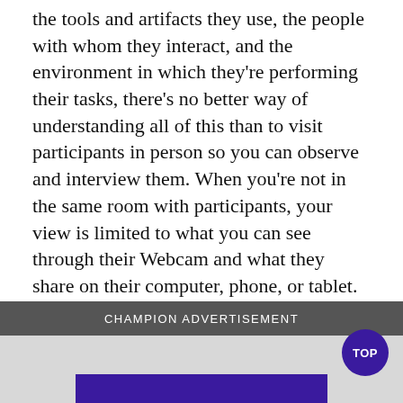the tools and artifacts they use, the people with whom they interact, and the environment in which they're performing their tasks, there's no better way of understanding all of this than to visit participants in person so you can observe and interview them. When you're not in the same room with participants, your view is limited to what you can see through their Webcam and what they share on their computer, phone, or tablet. Read More
In Remote UX Research | Usability Testing | User Research
CHAMPION ADVERTISEMENT